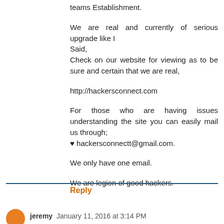teams Establishment.
We are real and currently of serious upgrade like I
Said,
Check on our website for viewing as to be sure and certain that we are real,
http://hackersconnect.com
For those who are having issues understanding the site you can easily mail us through;
♥ hackersconnectt@gmail.com.
We only have one email.
We are legion of good hackers.
Reply
jeremy  January 11, 2016 at 3:14 PM